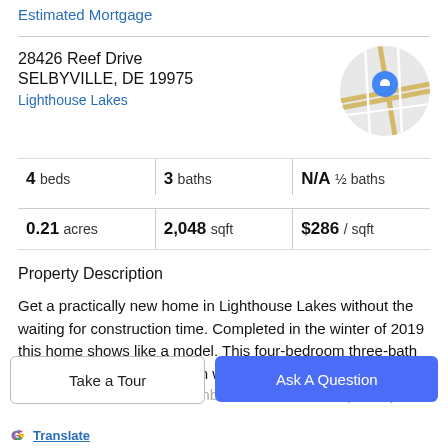Estimated Mortgage
28426 Reef Drive
SELBYVILLE, DE 19975
Lighthouse Lakes
[Figure (map): Circular map thumbnail showing street map with a blue location pin marker]
4 beds   3 baths   N/A ½ baths
0.21 acres   2,048 sqft   $286 / sqft
Property Description
Get a practically new home in Lighthouse Lakes without the waiting for construction time. Completed in the winter of 2019 this home shows like a model. This four-bedroom three-bath home has an open floor plan with a living room,
kitchen and dining room combined. The first-floor primary
Take a Tour
Ask A Question
Translate